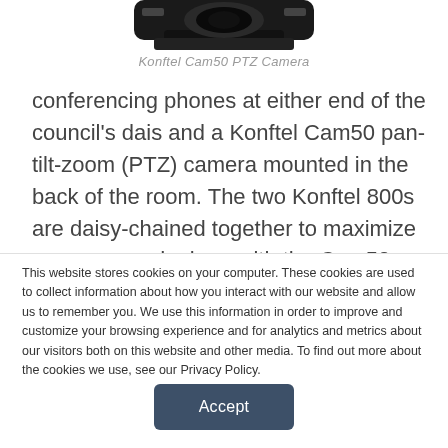[Figure (photo): Partial bottom view of a Konftel Cam50 PTZ Camera — a dark-colored camera device, cropped at the top of the page]
Konftel Cam50 PTZ Camera
conferencing phones at either end of the council's dais and a Konftel Cam50 pan-tilt-zoom (PTZ) camera mounted in the back of the room. The two Konftel 800s are daisy-chained together to maximize coverage and, along with the Cam50, are connected to the council room's PC through
This website stores cookies on your computer. These cookies are used to collect information about how you interact with our website and allow us to remember you. We use this information in order to improve and customize your browsing experience and for analytics and metrics about our visitors both on this website and other media. To find out more about the cookies we use, see our Privacy Policy.
Accept